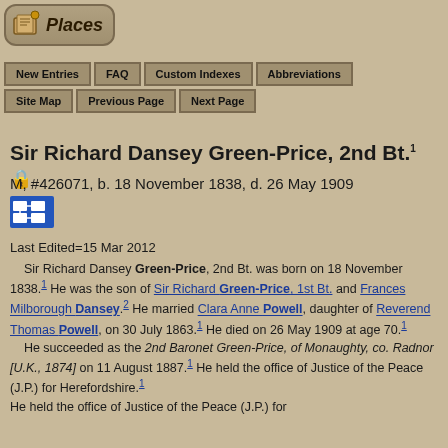[Figure (logo): Places logo with icon and rounded rectangle border]
New Entries | FAQ | Custom Indexes | Abbreviations | Site Map | Previous Page | Next Page
Sir Richard Dansey Green-Price, 2nd Bt.1
M, #426071, b. 18 November 1838, d. 26 May 1909
Last Edited=15 Mar 2012
Sir Richard Dansey Green-Price, 2nd Bt. was born on 18 November 1838.1 He was the son of Sir Richard Green-Price, 1st Bt. and Frances Milborough Dansey.2 He married Clara Anne Powell, daughter of Reverend Thomas Powell, on 30 July 1863.1 He died on 26 May 1909 at age 70.1 He succeeded as the 2nd Baronet Green-Price, of Monaughty, co. Radnor [U.K., 1874] on 11 August 1887.1 He held the office of Justice of the Peace (J.P.) for Herefordshire.1 He held the office of Justice of the Peace (J.P.) for